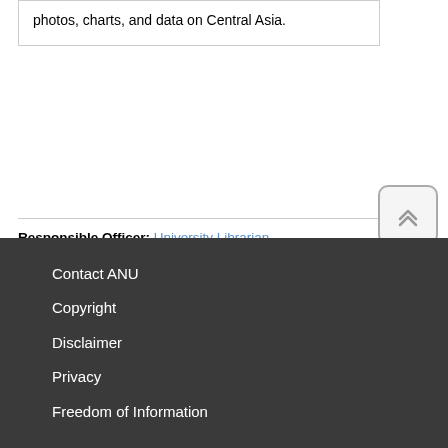photos, charts, and data on Central Asia.
Responsible Officer: University Librarian
Page Contact: Library Systems & Web Coordinator
Contact ANU
Copyright
Disclaimer
Privacy
Freedom of Information